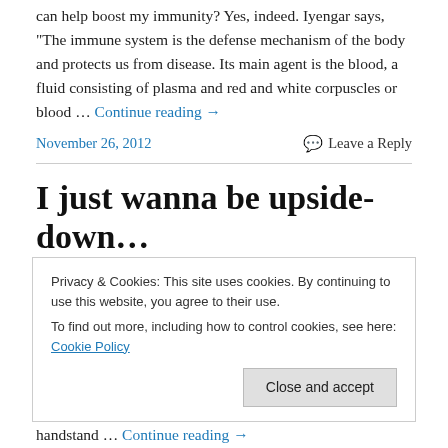can help boost my immunity? Yes, indeed. Iyengar says, "The immune system is the defense mechanism of the body and protects us from disease. Its main agent is the blood, a fluid consisting of plasma and red and white corpuscles or blood … Continue reading →
November 26, 2012
Leave a Reply
I just wanna be upside-down…
Privacy & Cookies: This site uses cookies. By continuing to use this website, you agree to their use.
To find out more, including how to control cookies, see here: Cookie Policy
Close and accept
handstand … Continue reading →